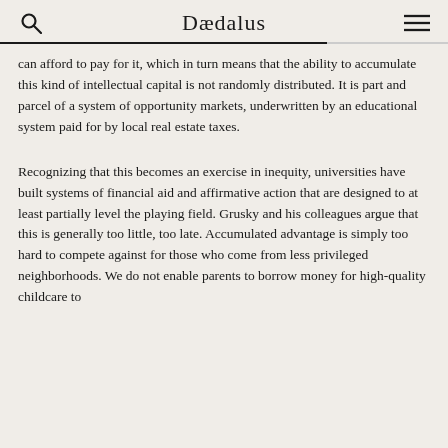Dædalus
can afford to pay for it, which in turn means that the ability to accumulate this kind of intellectual capital is not randomly distributed. It is part and parcel of a system of opportunity markets, underwritten by an educational system paid for by local real estate taxes.
Recognizing that this becomes an exercise in inequity, universities have built systems of financial aid and affirmative action that are designed to at least partially level the playing field. Grusky and his colleagues argue that this is generally too little, too late. Accumulated advantage is simply too hard to compete against for those who come from less privileged neighborhoods. We do not enable parents to borrow money for high-quality childcare to